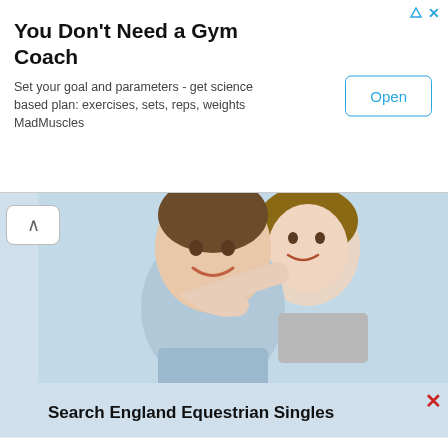You Don't Need a Gym Coach
Set your goal and parameters - get science based plan: exercises, sets, reps, weights MadMuscles
[Figure (photo): Happy smiling couple, man giving woman a piggyback ride against a light blue background]
Search England Equestrian Singles
Dating Group
#1 Dating Site